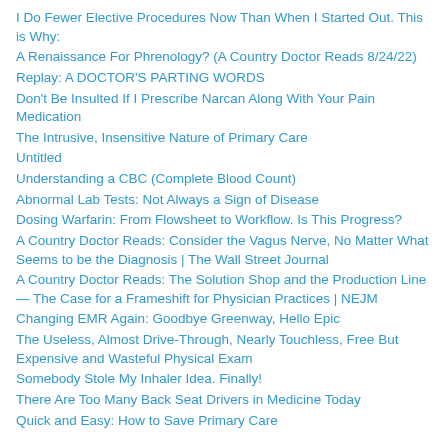I Do Fewer Elective Procedures Now Than When I Started Out. This is Why:
A Renaissance For Phrenology? (A Country Doctor Reads 8/24/22)
Replay: A DOCTOR'S PARTING WORDS
Don't Be Insulted If I Prescribe Narcan Along With Your Pain Medication
The Intrusive, Insensitive Nature of Primary Care
Untitled
Understanding a CBC (Complete Blood Count)
Abnormal Lab Tests: Not Always a Sign of Disease
Dosing Warfarin: From Flowsheet to Workflow. Is This Progress?
A Country Doctor Reads: Consider the Vagus Nerve, No Matter What Seems to be the Diagnosis | The Wall Street Journal
A Country Doctor Reads: The Solution Shop and the Production Line — The Case for a Frameshift for Physician Practices | NEJM
Changing EMR Again: Goodbye Greenway, Hello Epic
The Useless, Almost Drive-Through, Nearly Touchless, Free But Expensive and Wasteful Physical Exam
Somebody Stole My Inhaler Idea. Finally!
There Are Too Many Back Seat Drivers in Medicine Today
Quick and Easy: How to Save Primary Care